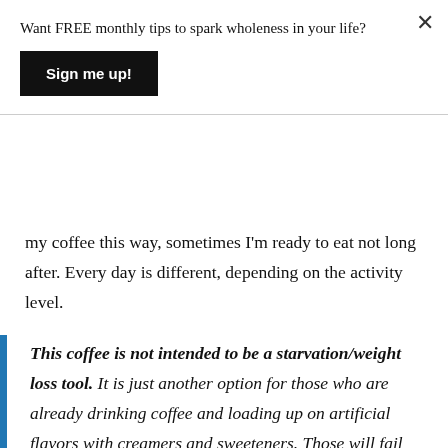Want FREE monthly tips to spark wholeness in your life?
Sign me up!
my coffee this way, sometimes I'm ready to eat not long after. Every day is different, depending on the activity level.
This coffee is not intended to be a starvation/weight loss tool. It is just another option for those who are already drinking coffee and loading up on artificial flavors with creamers and sweeteners. Those will fail your blood sugar, every time.
This is an alternative that will make you feel good and